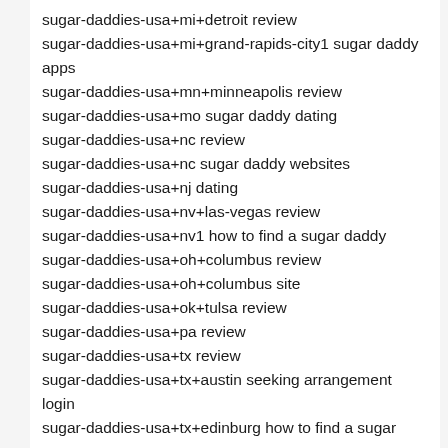sugar-daddies-usa+mi+detroit review
sugar-daddies-usa+mi+grand-rapids-city1 sugar daddy apps
sugar-daddies-usa+mn+minneapolis review
sugar-daddies-usa+mo sugar daddy dating
sugar-daddies-usa+nc review
sugar-daddies-usa+nc sugar daddy websites
sugar-daddies-usa+nj dating
sugar-daddies-usa+nv+las-vegas review
sugar-daddies-usa+nv1 how to find a sugar daddy
sugar-daddies-usa+oh+columbus review
sugar-daddies-usa+oh+columbus site
sugar-daddies-usa+ok+tulsa review
sugar-daddies-usa+pa review
sugar-daddies-usa+tx review
sugar-daddies-usa+tx+austin seeking arrangement login
sugar-daddies-usa+tx+edinburg how to find a sugar